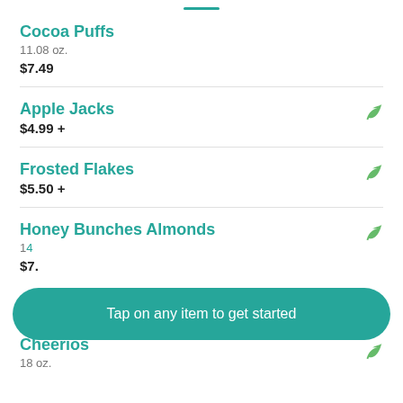Cocoa Puffs
11.08 oz.
$7.49
Apple Jacks
$4.99 +
Frosted Flakes
$5.50 +
Honey Bunches Almonds
14 oz.
$7.
Tap on any item to get started
Cheerios
18 oz.